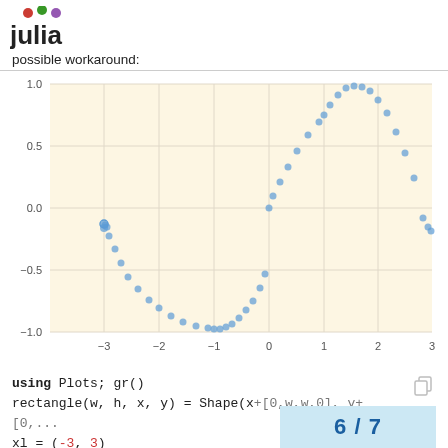[Figure (logo): Julia programming language logo with colored dots above 'julia' text]
possible workaround:
[Figure (continuous-plot): Scatter plot of sine-like curve. X-axis from -3 to 3, Y-axis from -1.0 to 1.0. Points follow a sinusoidal shape on a beige/cream background with light grid lines.]
using Plots; gr()
rectangle(w, h, x, y) = Shape(x+[0,w,w,0], y+[0,...
xl = (-3, 3)
yl = (-1, 1)